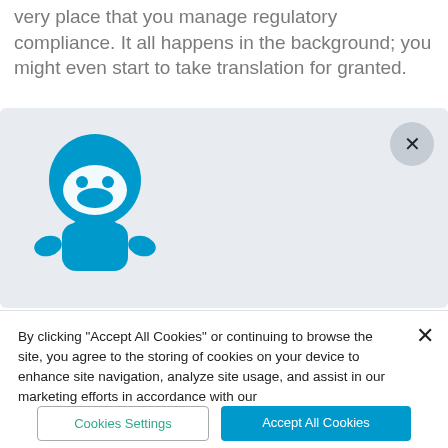very place that you manage regulatory compliance. It all happens in the background; you might even start to take translation for granted.
[Figure (screenshot): A light gray panel showing a blue ninja robot mascot icon on the left, with a circular close (X) button in the top-right corner.]
By clicking "Accept All Cookies" or continuing to browse the site, you agree to the storing of cookies on your device to enhance site navigation, analyze site usage, and assist in our marketing efforts in accordance with our
Cookies Settings
Accept All Cookies